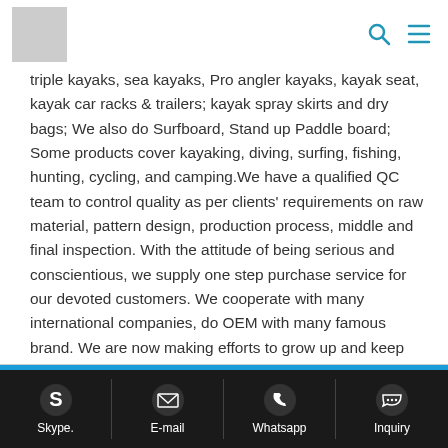[Logo] [Search icon] [Menu icon]
triple kayaks, sea kayaks, Pro angler kayaks, kayak seat, kayak car racks & trailers; kayak spray skirts and dry bags; We also do Surfboard, Stand up Paddle board; Some products cover kayaking, diving, surfing, fishing, hunting, cycling, and camping.We have a qualified QC team to control quality as per clients' requirements on raw material, pattern design, production process, middle and final inspection. With the attitude of being serious and conscientious, we supply one step purchase service for our devoted customers. We cooperate with many international companies, do OEM with many famous brand. We are now making efforts to grow up and keep our Blue Ocean Kayak as a good brand in the whole world. Many thanks for visiting our website www.blueoceankayak.com or www.blueoceankayak.cn. If you have any questions or queries, just contact us freely. Blue Ocean Kayak sincerely welcomes your business contact ! Cheers!
Skype. | E-mail | Whatsapp | Inquiry